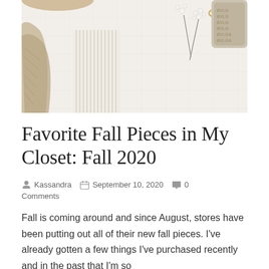[Figure (photo): Flat lay of cozy fall fashion items including a chunky knit cardigan, ribbed knit piece, dried flowers, gold jewelry, and a Bvlgari branded item on a white quilted background.]
Favorite Fall Pieces in My Closet: Fall 2020
Kassandra   September 10, 2020   0 Comments
Fall is coming around and since August, stores have been putting out all of their new fall pieces. I've already gotten a few things I've purchased recently and in the past that I'm so